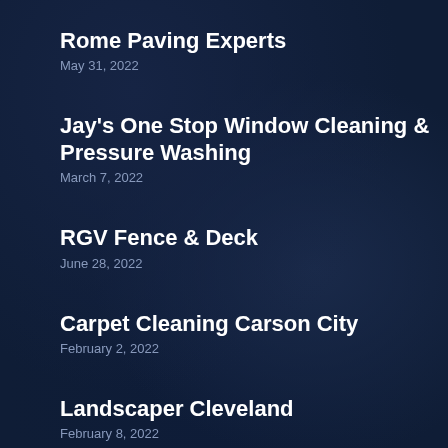Rome Paving Experts
May 31, 2022
Jay's One Stop Window Cleaning & Pressure Washing
March 7, 2022
RGV Fence & Deck
June 28, 2022
Carpet Cleaning Carson City
February 2, 2022
Landscaper Cleveland
February 8, 2022